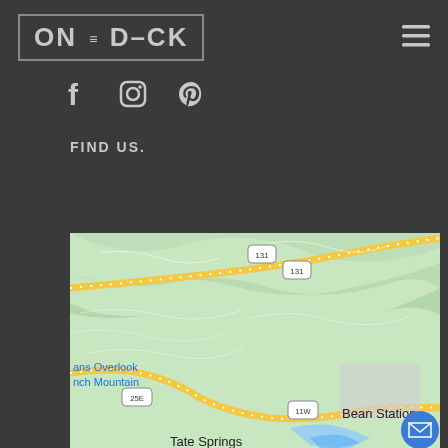[Figure (logo): ON THE DECK logo in a rectangular border]
[Figure (infographic): Social media icons: Facebook, Instagram, Pinterest]
FIND US.
[Figure (map): Google Maps view showing route 131, 25E, 11W, Bean Station, Tate Springs, and mountain overlook labels]